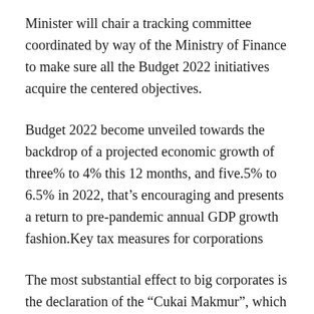Minister will chair a tracking committee coordinated by way of the Ministry of Finance to make sure all the Budget 2022 initiatives acquire the centered objectives.
Budget 2022 become unveiled towards the backdrop of a projected economic growth of three% to 4% this 12 months, and five.5% to 6.5% in 2022, that’s encouraging and presents a return to pre-pandemic annual GDP growth fashion.Key tax measures for corporations
The most substantial effect to big corporates is the declaration of the “Cukai Makmur”, which proposes a higher earnings tax price of 33% on chargeable profits